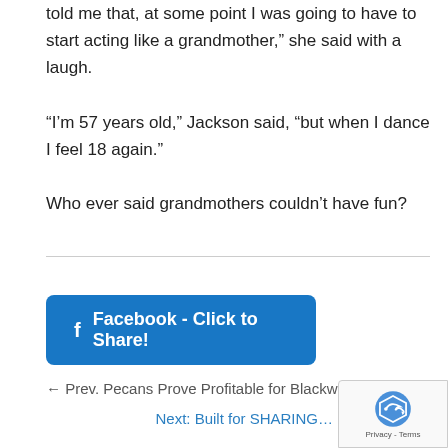told me that, at some point I was going to have to start acting like a grandmother,” she said with a laugh.
“I’m 57 years old,” Jackson said, “but when I dance I feel 18 again.”
Who ever said grandmothers couldn’t have fun?
[Figure (other): Facebook - Click to Share! button (blue rounded rectangle with Facebook f icon)]
← Prev. Pecans Prove Profitable for Blackwell Fam…
Next: Built for SHARING…
[Figure (other): reCAPTCHA badge with Privacy - Terms text]